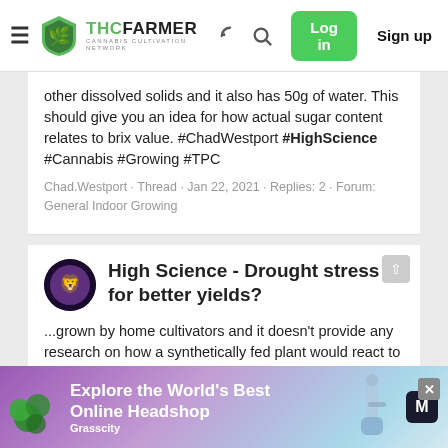THCFarmer - Cannabis Cultivation Network | Log in | Sign up
other dissolved solids and it also has 50g of water. This should give you an idea for how actual sugar content relates to brix value. #ChadWestport #HighScience #Cannabis #Growing #TPC
Chad.Westport · Thread · Jan 22, 2021 · Replies: 2 · Forum: General Indoor Growing
High Science - Drought stress for better yields?
...grown by home cultivators and it doesn't provide any research on how a synthetically fed plant would react to the same stresses. What do you think? Link to study - https://journals.ashs.org/hortsci/view/journals/hortsci/54/5/article-p964.xml #ChadWestport #HighScience
[Figure (infographic): Grasscity advertisement banner: Explore the World's Best Online Headshop, with purple/blue gradient background and bong illustration]